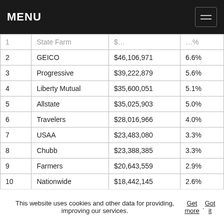MENU
| # | Company | Premiums Written | Market Share |
| --- | --- | --- | --- |
| 1 | State Farm | $... | ..% |
| 2 | GEICO | $46,106,971 | 6.6% |
| 3 | Progressive | $39,222,879 | 5.6% |
| 4 | Liberty Mutual | $35,600,051 | 5.1% |
| 5 | Allstate | $35,025,903 | 5.0% |
| 6 | Travelers | $28,016,966 | 4.0% |
| 7 | USAA | $23,483,080 | 3.3% |
| 8 | Chubb | $23,388,385 | 3.3% |
| 9 | Farmers | $20,643,559 | 2.9% |
| 10 | Nationwide | $18,442,145 | 2.6% |
Source: Insurance Information Institute
Compare RatesStart Now →
This website uses cookies and other data for providing, improving our services. Get more. Got it